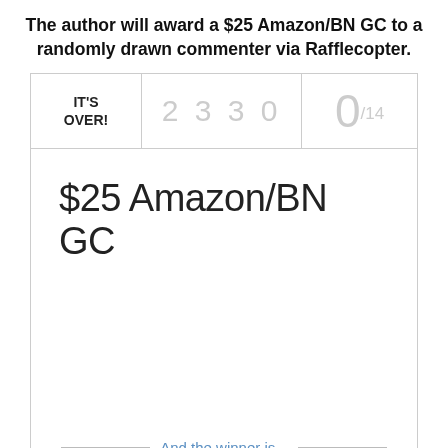The author will award a $25 Amazon/BN GC to a randomly drawn commenter via Rafflecopter.
[Figure (other): Rafflecopter giveaway widget showing IT'S OVER!, entry count 2330, score 0/14, prize $25 Amazon/BN GC, and 'And the winner is...' footer]
And the winner is...